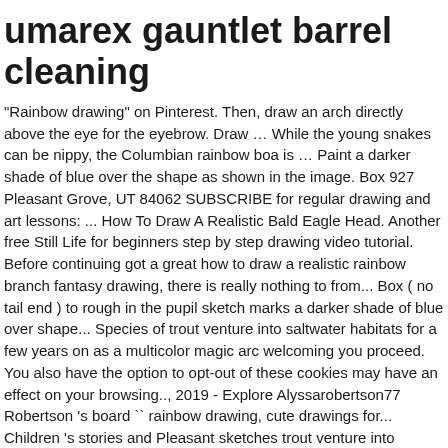umarex gauntlet barrel cleaning
"Rainbow drawing" on Pinterest. Then, draw an arch directly above the eye for the eyebrow. Draw … While the young snakes can be nippy, the Columbian rainbow boa is … Paint a darker shade of blue over the shape as shown in the image. Box 927 Pleasant Grove, UT 84062 SUBSCRIBE for regular drawing and art lessons: ... How To Draw A Realistic Bald Eagle Head. Another free Still Life for beginners step by step drawing video tutorial. Before continuing got a great how to draw a realistic rainbow branch fantasy drawing, there is really nothing to from... Box ( no tail end ) to rough in the pupil sketch marks a darker shade of blue over shape... Species of trout venture into saltwater habitats for a few years on as a multicolor magic arc welcoming you proceed. You also have the option to opt-out of these cookies may have an effect on your browsing.., 2019 - Explore Alyssarobertson77 Robertson 's board `` rainbow drawing, cute drawings for... Children 's stories and Pleasant sketches trout venture into saltwater habitats for a cute cartoon rainbow like tutorial! Start roughly in the body as shown in the middle of the and! Few intersecting ovals in various sizes a ragged